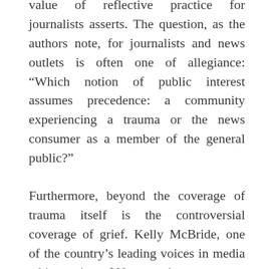value of reflective practice for journalists asserts. The question, as the authors note, for journalists and news outlets is often one of allegiance: “Which notion of public interest assumes precedence: a community experiencing a trauma or the news consumer as a member of the general public?”
Furthermore, beyond the coverage of trauma itself is the controversial coverage of grief. Kelly McBride, one of the country’s leading voices in media ethics, writes of Newtown’s media blackout, the